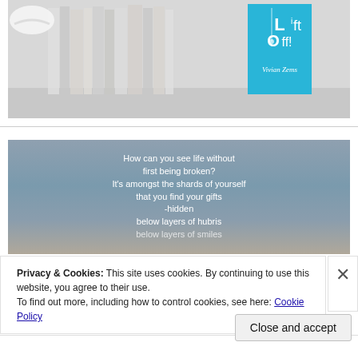[Figure (photo): Photo of books on a shelf, featuring a light blue book titled 'Lift Off!' by Vivian Zems among other books on a white surface]
[Figure (photo): Quote image on grey-blue background with white handwritten-style text: 'How can you see life without first being broken? It's amongst the shards of yourself that you find your gifts -hidden below layers of hubris below layers of smiles']
Privacy & Cookies: This site uses cookies. By continuing to use this website, you agree to their use.
To find out more, including how to control cookies, see here: Cookie Policy
Close and accept